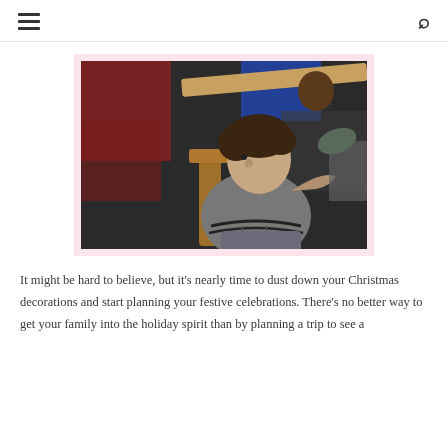≡   🔍
[Figure (photo): A young boy in a gray hoodie sits in a wooden chair, looking upward in what appears to be a school or event setting. Other people are visible in the blurred background.]
It might be hard to believe, but it's nearly time to dust down your Christmas decorations and start planning your festive celebrations. There's no better way to get your family into the holiday spirit than by planning a trip to see a